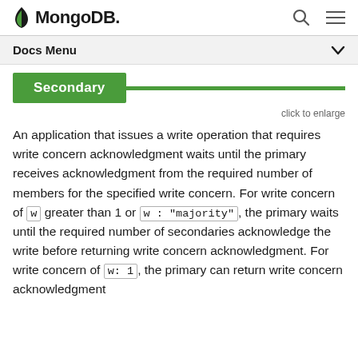MongoDB Docs Menu
[Figure (screenshot): Partial diagram showing a green 'Secondary' button/label with a green horizontal line extending to the right, representing a MongoDB replica set diagram.]
click to enlarge
An application that issues a write operation that requires write concern acknowledgment waits until the primary receives acknowledgment from the required number of members for the specified write concern. For write concern of w greater than 1 or w : "majority", the primary waits until the required number of secondaries acknowledge the write before returning write concern acknowledgment. For write concern of w: 1, the primary can return write concern acknowledgment